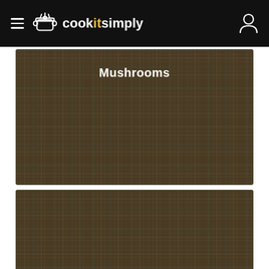cookitsimply
[Figure (photo): Recipe card with plaid/tartan brown background showing the text 'Mushrooms']
[Figure (photo): Recipe card with plaid/tartan brown background showing the text 'Stewed Cherries with Wine Sauce']
[Figure (photo): Partial recipe card with plaid/tartan brown background at bottom of page]